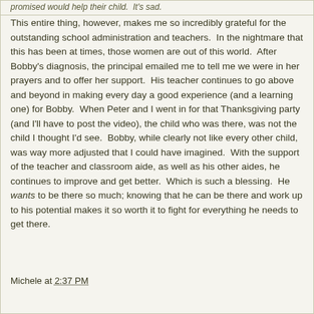promised would help their child.  It's sad.
This entire thing, however, makes me so incredibly grateful for the outstanding school administration and teachers.  In the nightmare that this has been at times, those women are out of this world.  After Bobby's diagnosis, the principal emailed me to tell me we were in her prayers and to offer her support.  His teacher continues to go above and beyond in making every day a good experience (and a learning one) for Bobby.  When Peter and I went in for that Thanksgiving party (and I'll have to post the video), the child who was there, was not the child I thought I'd see.  Bobby, while clearly not like every other child, was way more adjusted that I could have imagined.  With the support of the teacher and classroom aide, as well as his other aides, he continues to improve and get better.  Which is such a blessing.  He wants to be there so much; knowing that he can be there and work up to his potential makes it so worth it to fight for everything he needs to get there.
Michele at 2:37 PM
Share